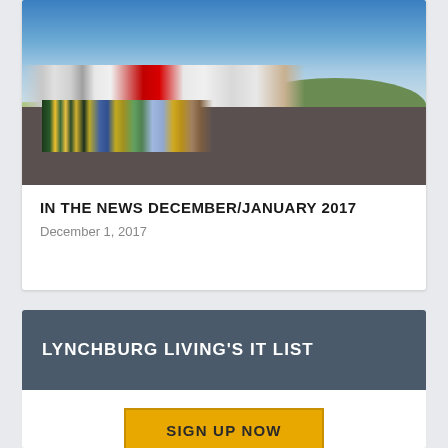[Figure (photo): Group of workers in safety vests gathered in a parking lot with several large trucks and vehicles behind them, under a blue sky with clouds and green hills in the background.]
IN THE NEWS DECEMBER/JANUARY 2017
December 1, 2017
LYNCHBURG LIVING'S IT LIST
SIGN UP NOW
For Email Marketing you can trust.